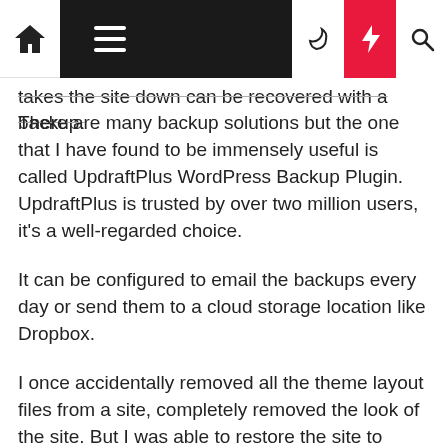[Navigation bar with home, menu, dark mode, lightning bolt, and search icons]
takes the site down can be recovered with a backup.
There are many backup solutions but the one that I have found to be immensely useful is called UpdraftPlus WordPress Backup Plugin. UpdraftPlus is trusted by over two million users, it's a well-regarded choice.
It can be configured to email the backups every day or send them to a cloud storage location like Dropbox.
I once accidentally removed all the theme layout files from a site, completely removed the look of the site. But I was able to restore the site to exactly how it was before by using an UpdraftPlus backup. It was easy to do and I was so thankful.
Advertisement